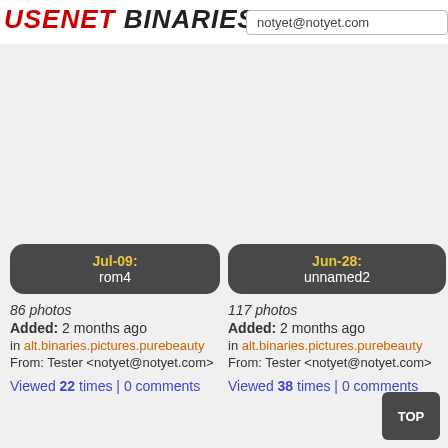USENET BINARIES
notyet@notyet.com
Jul-09: rom4
86 photos
Added: 2 months ago
in alt.binaries.pictures.purebeauty
From: Tester <notyet@notyet.com>
Viewed 22 times | 0 comments
Jun-28: unnamed2
117 photos
Added: 2 months ago
in alt.binaries.pictures.purebeauty
From: Tester <notyet@notyet.com>
Viewed 38 times | 0 comments